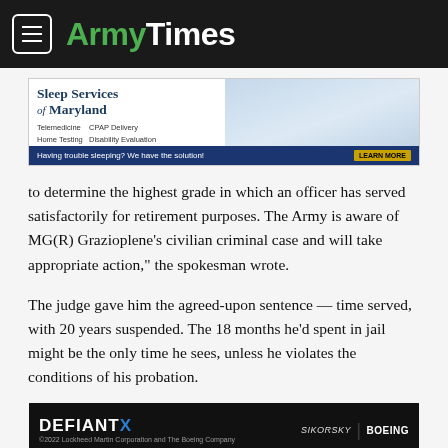ArmyTimes
[Figure (photo): Sleep Services of Maryland advertisement banner - Telemedicine, Home Testing, CPAP Delivery, Disability Evaluation. 'Having trouble sleeping? We have the solution!' with LEARN MORE button.]
to determine the highest grade in which an officer has served satisfactorily for retirement purposes. The Army is aware of MG(R) Grazioplene’s civilian criminal case and will take appropriate action,” the spokesman wrote.
The judge gave him the agreed-upon sentence — time served, with 20 years suspended. The 18 months he’d spent in jail might be the only time he sees, unless he violates the conditions of his probation.
[Figure (photo): DEFIANT X helicopter advertisement by Sikorsky and Boeing. ©2022 Lockheed Martin Corporation and The Boeing Company]